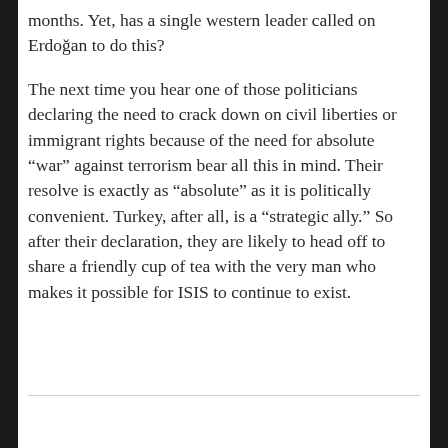months. Yet, has a single western leader called on Erdoğan to do this?
The next time you hear one of those politicians declaring the need to crack down on civil liberties or immigrant rights because of the need for absolute "war" against terrorism bear all this in mind. Their resolve is exactly as "absolute" as it is politically convenient. Turkey, after all, is a "strategic ally." So after their declaration, they are likely to head off to share a friendly cup of tea with the very man who makes it possible for ISIS to continue to exist.